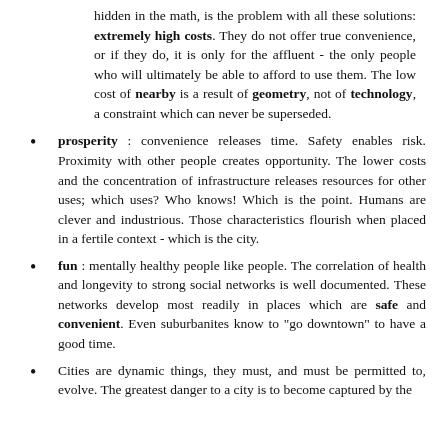hidden in the math, is the problem with all these solutions: extremely high costs. They do not offer true convenience, or if they do, it is only for the affluent - the only people who will ultimately be able to afford to use them. The low cost of nearby is a result of geometry, not of technology, a constraint which can never be superseded.
prosperity : convenience releases time. Safety enables risk. Proximity with other people creates opportunity. The lower costs and the concentration of infrastructure releases resources for other uses; which uses? Who knows! Which is the point. Humans are clever and industrious. Those characteristics flourish when placed in a fertile context - which is the city.
fun : mentally healthy people like people. The correlation of health and longevity to strong social networks is well documented. These networks develop most readily in places which are safe and convenient. Even suburbanites know to "go downtown" to have a good time.
Cities are dynamic things, they must, and must be permitted to, evolve. The greatest danger to a city is to become captured by the